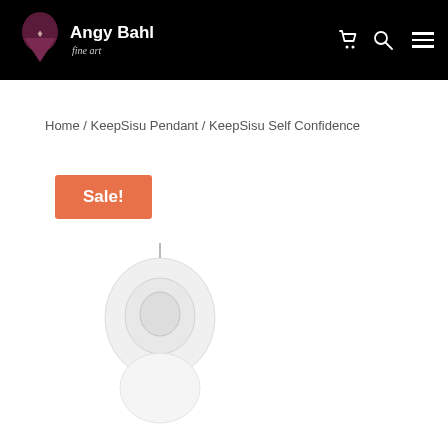Angy Bahl Fine Art
Home / KeepSisu Pendant / KeepSisu Self Confidence
Sale!
[Figure (photo): Product image area showing a pendant, partially visible at bottom of page]